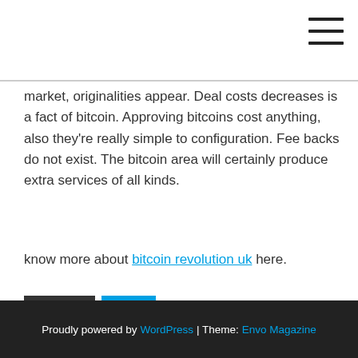hamburger menu icon
market, originalities appear. Deal costs decreases is a fact of bitcoin. Approving bitcoins cost anything, also they're really simple to configuration. Fee backs do not exist. The bitcoin area will certainly produce extra services of all kinds.
know more about bitcoin revolution uk here.
Category  News
« Ufc Betting – How To Wager On Ufc Fights
Examine This Report on bitcoin »
Proudly powered by WordPress | Theme: Envo Magazine